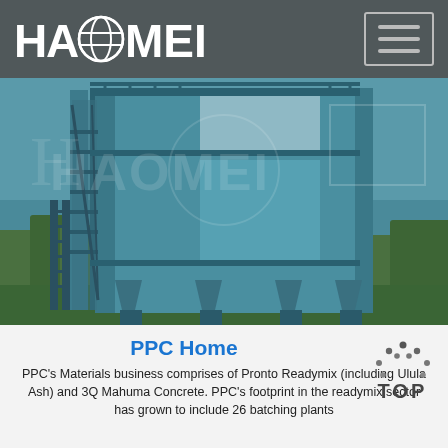HAOMEI
[Figure (photo): Large industrial concrete batching plant tower structure, painted teal/blue, with external staircases and scaffolding, surrounded by trees, photographed outdoors.]
PPC Home
[Figure (illustration): TOP button icon with dots arranged in triangle above the word TOP]
PPC's Materials business comprises of Pronto Readymix (including Ulula Ash) and 3Q Mahuma Concrete. PPC's footprint in the readymix sector has grown to include 26 batching plants